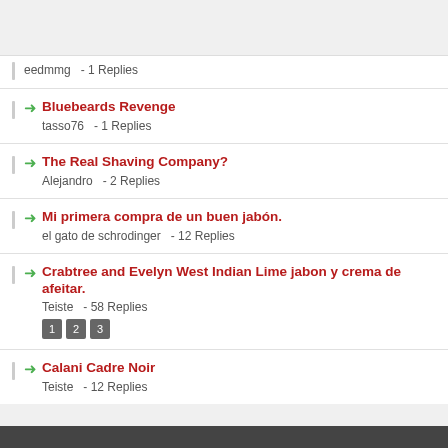eedmmg  - 1 Replies
Bluebeards Revenge
tasso76  - 1 Replies
The Real Shaving Company?
Alejandro  - 2 Replies
Mi primera compra de un buen jabón.
el gato de schrodinger  - 12 Replies
Crabtree and Evelyn West Indian Lime jabon y crema de afeitar.
Teiste  - 58 Replies
Calani Cadre Noir
Teiste  - 12 Replies